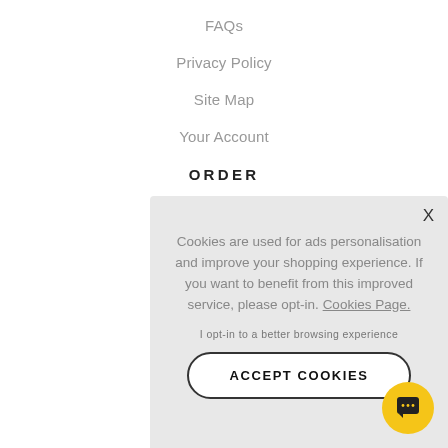FAQs
Privacy Policy
Site Map
Your Account
ORDER
Delivery & Returns
Cookies are used for ads personalisation and improve your shopping experience. If you want to benefit from this improved service, please opt-in. Cookies Page.
I opt-in to a better browsing experience
ACCEPT COOKIES
[Figure (other): Yellow circular chat support button with speech bubble icon]